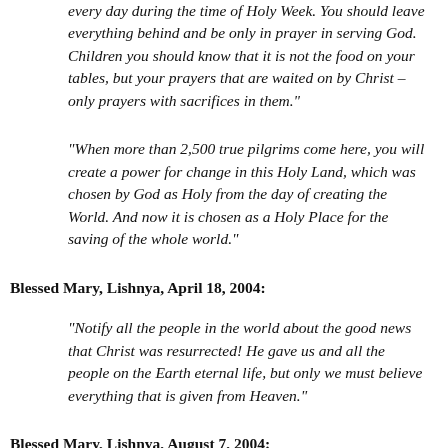“every day during the time of Holy Week. You should leave everything behind and be only in prayer in serving God. Children you should know that it is not the food on your tables, but your prayers that are waited on by Christ – only prayers with sacrifices in them.”
“When more than 2,500 true pilgrims come here, you will create a power for change in this Holy Land, which was chosen by God as Holy from the day of creating the World. And now it is chosen as a Holy Place for the saving of the whole world.”
Blessed Mary, Lishnya, April 18, 2004:
“Notify all the people in the world about the good news that Christ was resurrected! He gave us and all the people on the Earth eternal life, but only we must believe everything that is given from Heaven.”
Blessed Mary, Lishnya, August 7, 2004: